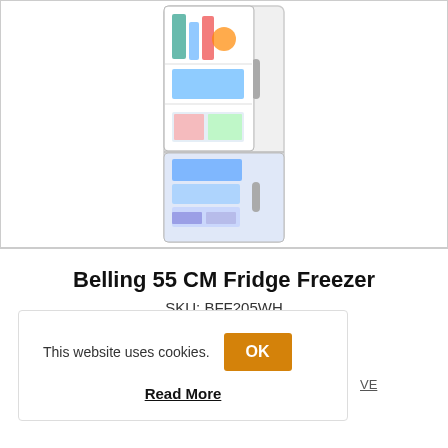[Figure (photo): Photo of a Belling 55 CM Fridge Freezer (white), shown with both doors open revealing contents: fresh food in the fridge section and frozen food in the freezer section. The appliance is shown against a white background.]
Belling 55 CM Fridge Freezer
SKU: BFF205WH
This website uses cookies.
Read More